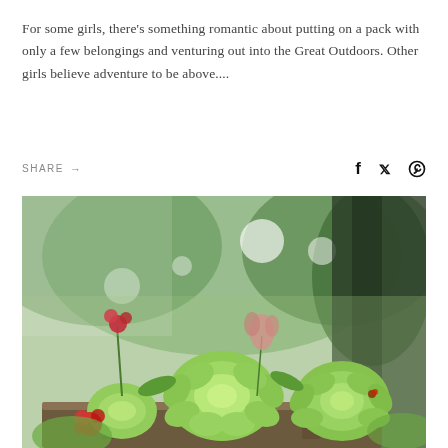For some girls, there's something romantic about putting on a pack with only a few belongings and venturing out into the Great Outdoors. Other girls believe adventure to be above....
SHARE →
[Figure (photo): Close-up photo of green succulent plants and flowers in a planter box, with a blurred green tree background. Red geraniums and pink flowers are visible among the succulents.]